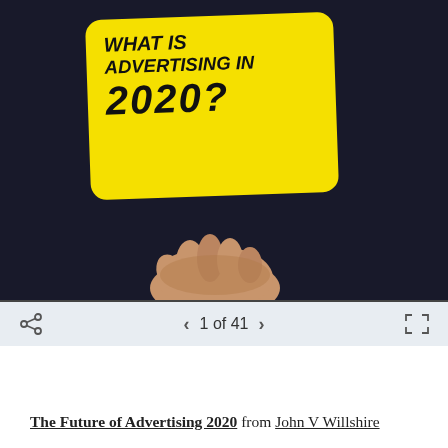[Figure (photo): A hand holding a yellow card with rounded corners against a dark background. The card has handwritten-style text reading 'WHAT IS ADVERTISING IN 2020?' in bold black marker lettering. Below the card is a navigation bar showing a share icon on the left, '1 of 41' with left/right arrows in the center, and a fullscreen icon on the right.]
The Future of Advertising 2020 from John V Willshire